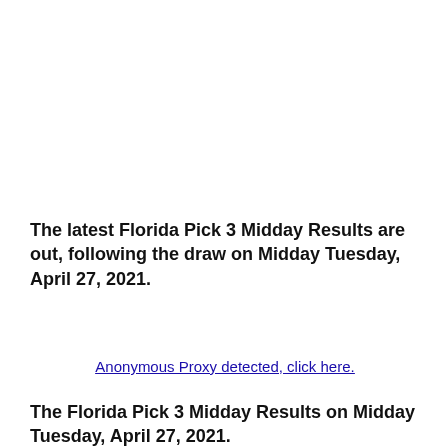The latest Florida Pick 3 Midday Results are out, following the draw on Midday Tuesday, April 27, 2021.
Anonymous Proxy detected, click here.
The Florida Pick 3 Midday Results on Midday Tuesday, April 27, 2021.